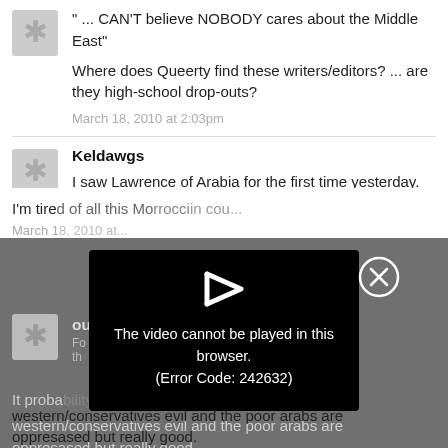" ... CAN'T believe NOBODY cares about the Middle East"
Where does Queerty find these writers/editors? ... are they high-school drop-outs?
March 18, 2010 at 2:03pm
Keldawgs
I saw Lawrence of Arabia for the first time yesterday. Just Saying.
I'm tired of all this Morocci...
March 1...
oussla
[Figure (screenshot): Video error modal overlay on darkened background. Shows a play button arrow icon, text 'The video cannot be played in this browser. (Error Code: 242632)', and a close (X) button.]
It proba... ideas western/conservatives evil and the poor arabs are oppresased but really good.